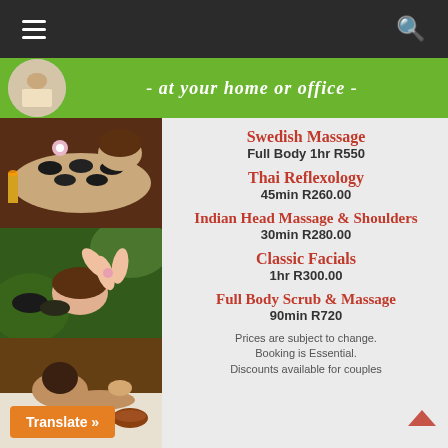Navigation header with hamburger menu and search icon
[Figure (photo): Green banner with circular logo and italic text '- at your home or office -']
[Figure (photo): Collage of three spa/massage photos: woman with hot stones, woman relaxing with flowers, person receiving massage]
Swedish Massage
Full Body 1hr R550
Thai Reflexology
45min R260.00
Indian Head Massage & Shoulders
30min R280.00
Classic Facials
1hr R300.00
Full Body Scrub & Massage
90min R720
Prices are subject to change. Booking is Essential. Discounts available for couples